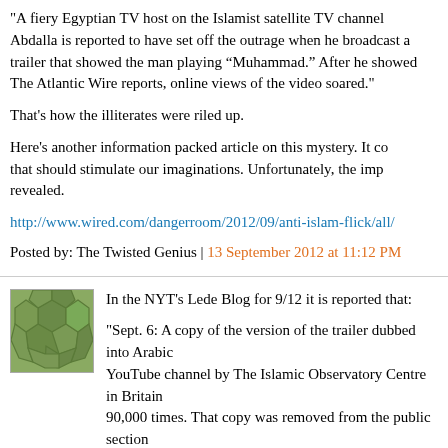"A fiery Egyptian TV host on the Islamist satellite TV channel Abdalla is reported to have set off the outrage when he broadcast a trailer that showed the man playing “Muhammad.” After he showed The Atlantic Wire reports, online views of the video soared."
That's how the illiterates were riled up.
Here's another information packed article on this mystery. It c... that should stimulate our imaginations. Unfortunately, the imp... revealed.
http://www.wired.com/dangerroom/2012/09/anti-islam-flick/all/
Posted by: The Twisted Genius | 13 September 2012 at 11:12 PM
[Figure (illustration): Green avatar icon with soccer ball / hexagonal pattern in olive green tones]
In the NYT's Lede Blog for 9/12 it is reported that:
"Sept. 6: A copy of the version of the trailer dubbed into Arabic YouTube channel by The Islamic Observatory Centre in Brita... 90,000 times. That copy was removed from the public section Wednesday and replaced with a video statement from the gr... to post the offensive trailer."
The Lede posts the video statement in which the Islamic Obs...